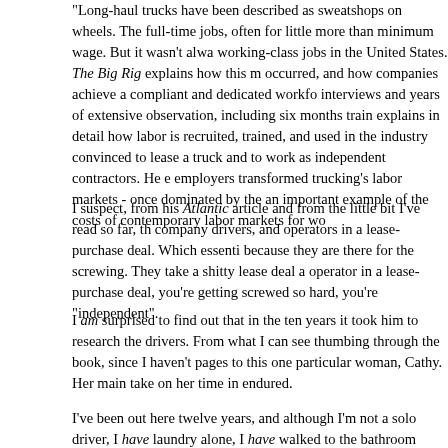"Long-haul trucks have been described as sweatshops on wheels." The full-time jobs, often for little more than minimum wage. But it wasn't always working-class jobs in the United States. The Big Rig explains how this m occurred, and how companies achieve a compliant and dedicated workfo interviews and years of extensive observation, including six months train explains in detail how labor is recruited, trained, and used in the industry convinced to lease a truck and to work as independent contractors. He employers transformed trucking's labor markets - once dominated by the an important example of the costs of contemporary labor markets for wo
I suspect, from his Atlantic article and from the little bit I've read so far, th company drivers, and operators in a lease-purchase deal. Which essenti because they are there for the screwing. They take a shitty lease deal a operator in a lease-purchase deal, you're getting screwed so hard, you're "independent".
I am surprised to find out that in the ten years it took him to research the drivers. From what I can see thumbing through the book, since I haven't pages to this one particular woman, Cathy. Her main take on her time in endured.
I've been out here twelve years, and although I'm not a solo driver, I have laundry alone, I have walked to the bathroom alone, and I have interacte on the CB - although I don't hear much of it because we never use it - the never say to a human being's face, but I have never once in person felt h